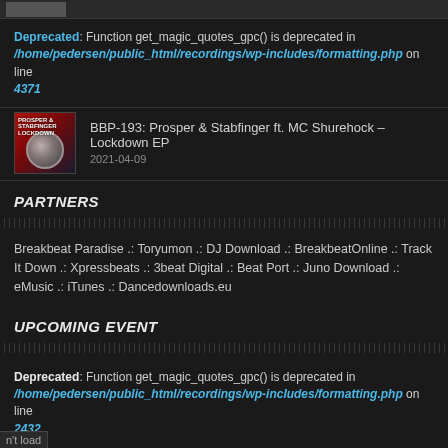Deprecated: Function get_magic_quotes_gpc() is deprecated in /home/pedersen/public_html/recordings/wp-includes/formatting.php on line 4371
BBP-193: Prosper & Stabfinger ft. MC Shurehock – Lockdown EP
2021-04-09
PARTNERS
Breakbeat Paradise .: Toryumon .: DJ Download .: BreakbeatOnline .: Track It Down .: Xpressbeats .: 3beat Digital .: Beat Port .: Juno Download .: eMusic .: iTunes .: Dancedownloads.eu
UPCOMING EVENT
Deprecated: Function get_magic_quotes_gpc() is deprecated in /home/pedersen/public_html/recordings/wp-includes/formatting.php on line 2432